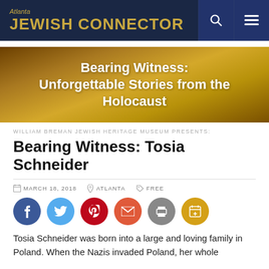Atlanta JEWISH CONNECTOR
[Figure (illustration): Bearing Witness: Unforgettable Stories from the Holocaust banner image with gold gradient background]
WILLIAM BREMAN JEWISH HERITAGE MUSEUM PRESENTS:
Bearing Witness: Tosia Schneider
MARCH 18, 2018   ATLANTA   FREE
[Figure (infographic): Social sharing buttons: Facebook, Twitter, Pinterest, Email, Print, Calendar]
Tosia Schneider was born into a large and loving family in Poland. When the Nazis invaded Poland, her whole